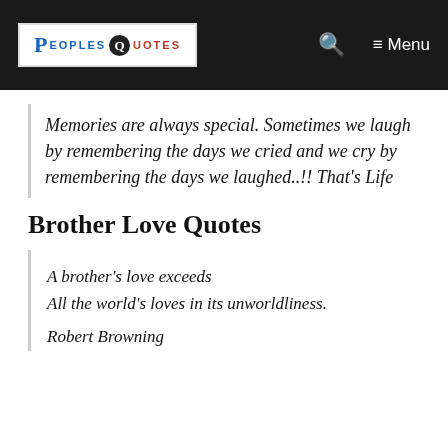PeoplesQuotes — Menu
Memories are always special. Sometimes we laugh by remembering the days we cried and we cry by remembering the days we laughed..!! That's Life
Brother Love Quotes
A brother's love exceeds
All the world's loves in its unworldliness.
Robert Browning